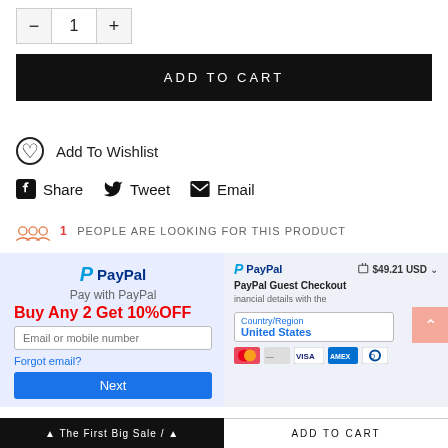− 1 +
ADD TO CART
Add To Wishlist
Share  Tweet  Email
1 PEOPLE ARE LOOKING FOR THIS PRODUCT
[Figure (screenshot): PayPal payment section showing two panels: left panel with PayPal logo, 'Pay with PayPal' text, 'Buy Any 2 Get 10% OFF' promotional overlay, email/mobile input field, Forgot email link, and Next button; right panel with PayPal header showing $49.21 USD, PayPal Guest Checkout title, Country/Region United States dropdown, payment card icons, and scroll-to-top button.]
ADD TO CART